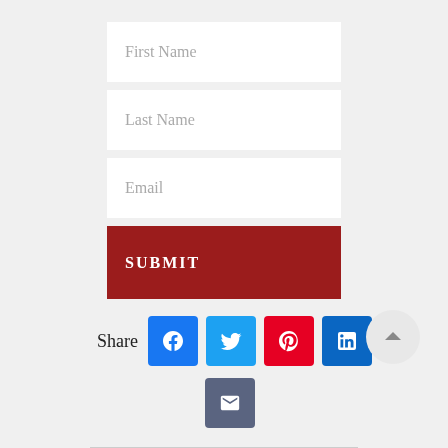[Figure (screenshot): A web form with three input fields (First Name, Last Name, Email) and a red SUBMIT button, followed by social share buttons (Facebook, Twitter, Pinterest, LinkedIn, Email) and an up-arrow scroll button.]